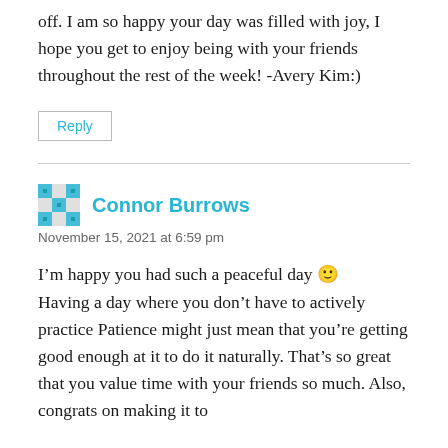off. I am so happy your day was filled with joy, I hope you get to enjoy being with your friends throughout the rest of the week! -Avery Kim:)
Reply
Connor Burrows
November 15, 2021 at 6:59 pm
I’m happy you had such a peaceful day 🙂 Having a day where you don’t have to actively practice Patience might just mean that you’re getting good enough at it to do it naturally. That’s so great that you value time with your friends so much. Also, congrats on making it to